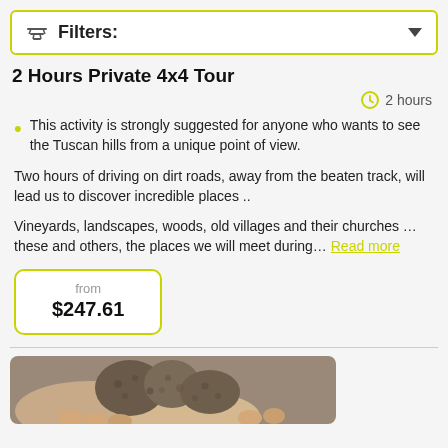Filters:
2 Hours Private 4x4 Tour
2 hours
This activity is strongly suggested for anyone who wants to see the Tuscan hills from a unique point of view.
Two hours of driving on dirt roads, away from the beaten track, will lead us to discover incredible places ..
Vineyards, landscapes, woods, old villages and their churches … these and others, the places we will meet during… Read more
from $247.61
[Figure (photo): Hands holding truffles, close-up photo]